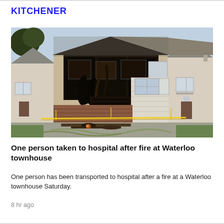KITCHENER
[Figure (photo): A fire-damaged townhouse with charred facade, broken windows, open garage door, yellow caution tape across the front, and fire hoses on the ground. The centre unit shows severe fire damage while adjacent units show less damage.]
One person taken to hospital after fire at Waterloo townhouse
One person has been transported to hospital after a fire at a Waterloo townhouse Saturday.
8 hr ago